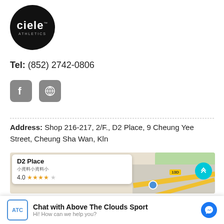[Figure (logo): Ciele Athletics logo — circular black badge with 'ciele' in white bold text and 'ATHLETICS' in small grey caps below]
Tel: (852) 2742-0806
[Figure (illustration): Facebook icon (rounded square, grey) and globe/website icon (rounded square, grey)]
Address: Shop 216-217, 2/F., D2 Place, 9 Cheung Yee Street, Cheung Sha Wan, Kln
[Figure (screenshot): Google Maps screenshot showing D2 Place location popup with 4.0 star rating and map with road labels 13D and 13C]
[Figure (screenshot): Chat widget bar: ATC logo, 'Chat with Above The Clouds Sport' title, 'Hi! How can we help you?' subtitle, Messenger icon]